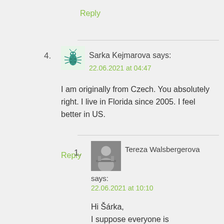Reply
4. Sarka Kejmarova says:
22.06.2021 at 04:47

I am originally from Czech. You absolutely right. I live in Florida since 2005. I feel better in US.

Reply
1. Tereza Walsbergerova says:
22.06.2021 at 10:10

Hi Šárka,
I suppose everyone is